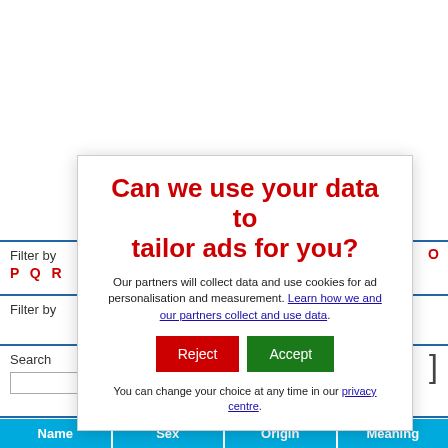Filter by
P Q R
M N O
Filter by
Search
[Figure (screenshot): Cookie consent modal dialog with title 'Can we use your data to tailor ads for you?', body text about partners collecting data, Reject and Accept buttons, and privacy centre link.]
| Name | Sex | Origin | Meaning |
| --- | --- | --- | --- |